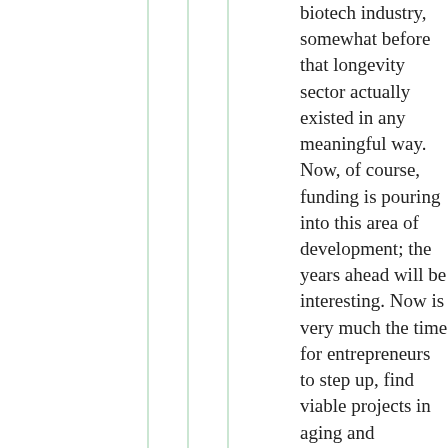biotech industry, somewhat before that longevity sector actually existed in any meaningful way. Now, of course, funding is pouring into this area of development; the years ahead will be interesting. Now is very much the time for entrepreneurs to step up, find viable projects in aging and longevity, raise the funds, and carry them forward into clinical